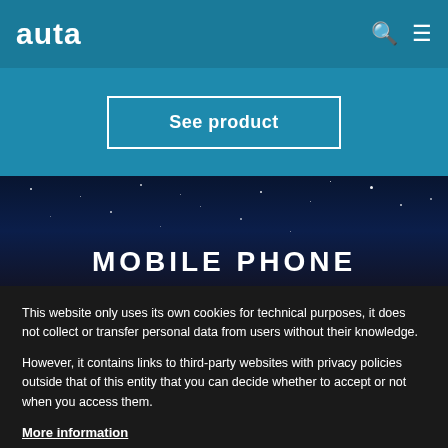auta
See product
MOBILE PHONE
This website only uses its own cookies for technical purposes, it does not collect or transfer personal data from users without their knowledge.

However, it contains links to third-party websites with privacy policies outside that of this entity that you can decide whether to accept or not when you access them.
More information
I agree